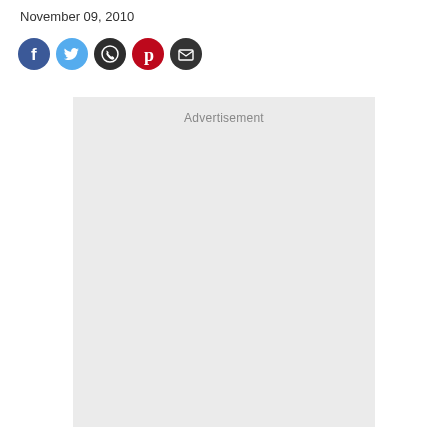November 09, 2010
[Figure (other): Row of social media sharing icons: Facebook (blue circle with f), Twitter (light blue circle with bird), WhatsApp (dark circle with phone/chat), Pinterest (red circle with P), Email (dark circle with envelope)]
[Figure (other): Advertisement placeholder box — light gray rectangle with the label 'Advertisement' at the top center]